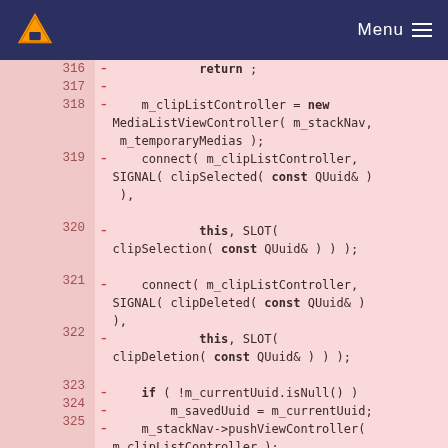VLC Menu
Code diff showing lines 316-325 of a C++ file with m_clipListController initialization and signal/slot connections